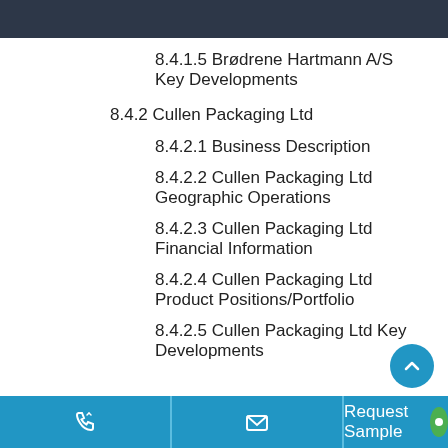8.4.1.5 Brødrene Hartmann A/S Key Developments
8.4.2 Cullen Packaging Ltd
8.4.2.1 Business Description
8.4.2.2 Cullen Packaging Ltd Geographic Operations
8.4.2.3 Cullen Packaging Ltd Financial Information
8.4.2.4 Cullen Packaging Ltd Product Positions/Portfolio
8.4.2.5 Cullen Packaging Ltd Key Developments
Request Sample